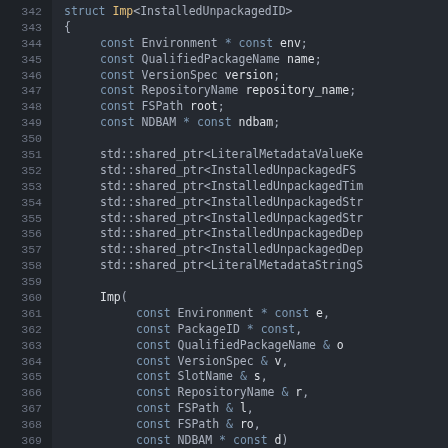[Figure (screenshot): Code editor screenshot showing C++ struct Imp<InstalledUnpackagedID> definition with line numbers 342-369. Dark theme editor with syntax highlighting showing member variables and constructor parameters.]